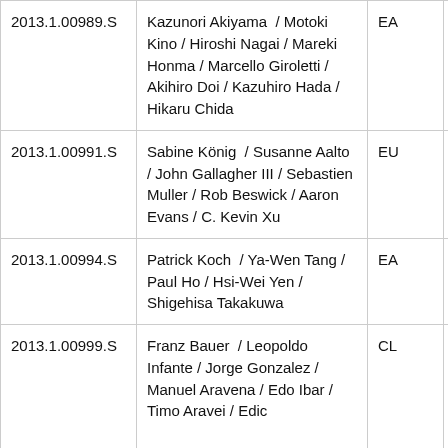| ID | Authors | Category | Description |
| --- | --- | --- | --- |
| 2013.1.00989.S | Kazunori Akiyama / Motoki Kino / Hiroshi Nagai / Mareki Honma / Marcello Giroletti / Akihiro Doi / Kazuhiro Hada / Hikaru Chida | EA | Probi most relativ extrem |
| 2013.1.00991.S | Sabine König / Susanne Aalto / John Gallagher III / Sebastien Muller / Rob Beswick / Aaron Evans / C. Kevin Xu | EU | The f minor |
| 2013.1.00994.S | Patrick Koch / Ya-Wen Tang / Paul Ho / Hsi-Wei Yen / Shigehisa Takakuwa | EA | Resol holes |
| 2013.1.00999.S | Franz Bauer / Leopoldo Infante / Jorge Gonzalez / Manuel Aravena / Edo Ibar / Timo Aravena / Edic... | CL | Lensi Cosm Cons "Norm the b |